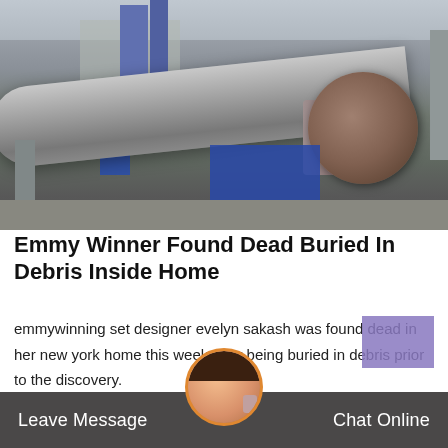[Figure (photo): Industrial rotary kiln or cement plant machinery with large cylindrical drum, silos, and industrial structures in outdoor setting]
Emmy Winner Found Dead Buried In Debris Inside Home
emmywinning set designer evelyn sakash was found dead in her new york home this week after being buried in debris prior to the discovery.
[Figure (photo): Customer service representative avatar with headset, circular photo within orange border]
Leave Message   Chat Online